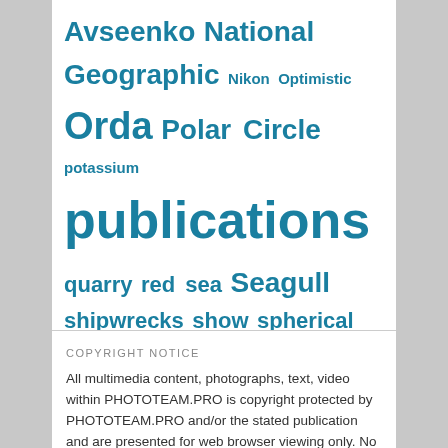Avseenko National Geographic Nikon Optimistic Orda Polar Circle potassium publications quarry red sea Seagull shipwrecks show spherical panoramas swans Sylvinite Tver until the ice melts Urals video White Sea White Sea Bestiary White Whales
COPYRIGHT NOTICE
All multimedia content, photographs, text, video within PHOTOTEAM.PRO is copyright protected by PHOTOTEAM.PRO and/or the stated publication and are presented for web browser viewing only. No images are within